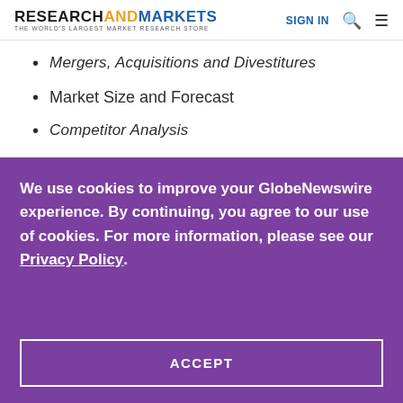RESEARCHANDMARKETS THE WORLD'S LARGEST MARKET RESEARCH STORE | SIGN IN
Mergers, Acquisitions and Divestitures
Market Size and Forecast
Competitor Analysis
We use cookies to improve your GlobeNewswire experience. By continuing, you agree to our use of cookies. For more information, please see our Privacy Policy.
ACCEPT